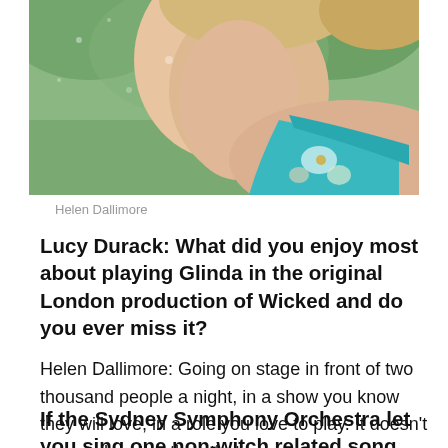[Figure (photo): Partial portrait photo of Helen Dallimore showing neck, shoulder and teal/floral dress strap, with green blurred background]
Helen Dallimore
Lucy Durack: What did you enjoy most about playing Glinda in the original London production of Wicked and do you ever miss it?
Helen Dallimore: Going on stage in front of two thousand people a night, in a show you know they will love, in a role you love to play. It doesn't get much better than that.
If the Sydney Symphony Orchestra let you sing one non-witch related song, any song in the universe, just